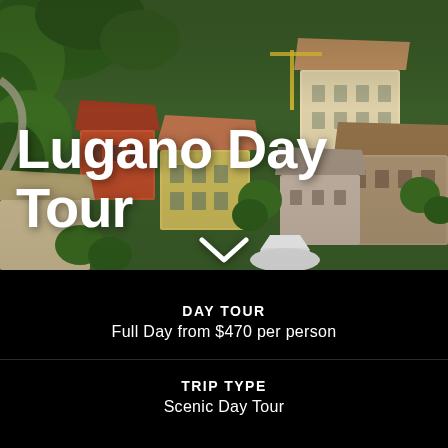[Figure (photo): Aerial view of Lugano, Switzerland showing terracotta-roofed buildings, colorful facades (yellow, red, beige), and lush green trees from above]
Lugano Day Tour
DAY TOUR
Full Day from $470 per person
TRIP TYPE
Scenic Day Tour